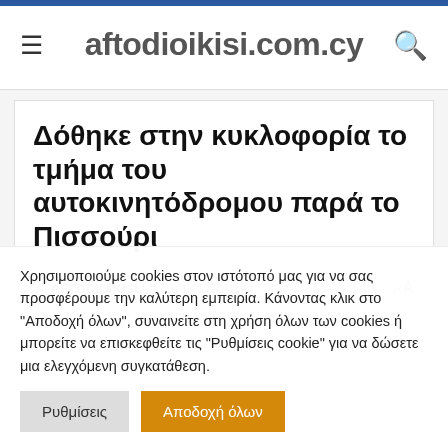aftodioikisi.com.cy
Δόθηκε στην κυκλοφορία το τμήμα του αυτοκινητόδρομου παρά το Πισσούρι
by AFTODIOIKISI — April 13, 2019
Χρησιμοποιούμε cookies στον ιστότοπό μας για να σας προσφέρουμε την καλύτερη εμπειρία. Κάνοντας κλικ στο "Αποδοχή όλων", συναινείτε στη χρήση όλων των cookies ή μπορείτε να επισκεφθείτε τις "Ρυθμίσεις cookie" για να δώσετε μια ελεγχόμενη συγκατάθεση.
Ρυθμίσεις | Αποδοχή όλων